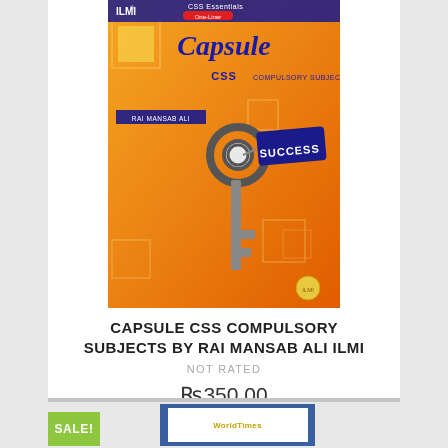[Figure (photo): Book cover of 'CSS Essentials One-Liner Capsule CSS Compulsory Subjects by Rai Mansab Ali' published by Ilmi. Orange background with a key labeled SUCCESS in blue tag.]
CAPSULE CSS COMPULSORY SUBJECTS BY RAI MANSAB ALI ILMI
NOT RATED
Rs350.00
ADD TO CART
SALE!